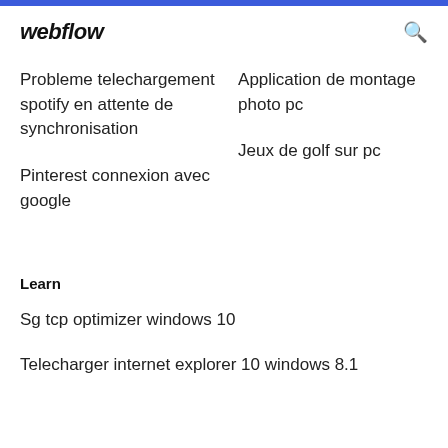webflow
Probleme telechargement spotify en attente de synchronisation
Pinterest connexion avec google
Application de montage photo pc
Jeux de golf sur pc
Learn
Sg tcp optimizer windows 10
Telecharger internet explorer 10 windows 8.1